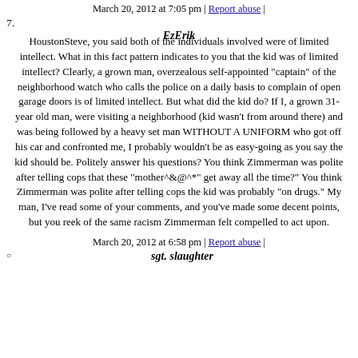March 20, 2012 at 7:05 pm | Report abuse |
7.
EzErik
HoustonSteve, you said both of the individuals involved were of limited intellect. What in this fact pattern indicates to you that the kid was of limited intellect? Clearly, a grown man, overzealous self-appointed "captain" of the neighborhood watch who calls the police on a daily basis to complain of open garage doors is of limited intellect. But what did the kid do? If I, a grown 31-year old man, were visiting a neighborhood (kid wasn't from around there) and was being followed by a heavy set man WITHOUT A UNIFORM who got off his car and confronted me, I probably wouldn't be as easy-going as you say the kid should be. Politely answer his questions? You think Zimmerman was polite after telling cops that these "mother^&@^*" get away all the time?" You think Zimmerman was polite after telling cops the kid was probably "on drugs." My man, I've read some of your comments, and you've made some decent points, but you reek of the same racism Zimmerman felt compelled to act upon.
March 20, 2012 at 6:58 pm | Report abuse |
sgt. slaughter